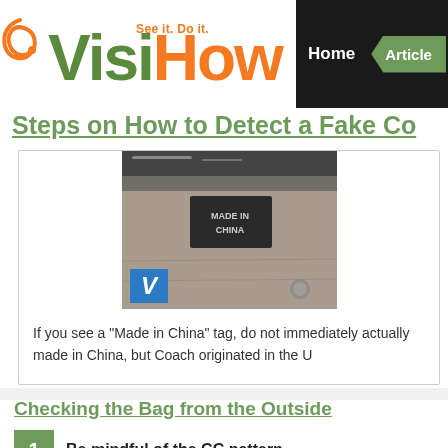VisiHow - See it. Do it. | Home | Articles
Steps on How to Detect a Fake Co...
[Figure (photo): Close-up photo of the inside of a Coach bag showing a 'MADE IN CHINA' label tag on dark fabric lining, with a blue V-shaped logo marker in the bottom left corner.]
If you see a "Made in China" tag, do not immediately actually made in China, but Coach originated in the U
Checking the Bag from the Outside
Be mindful of the CC pattern